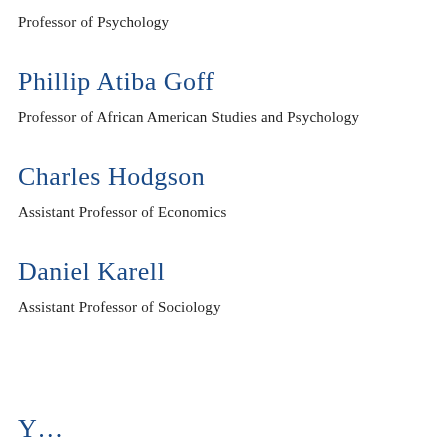Professor of Psychology
Phillip Atiba Goff
Professor of African American Studies and Psychology
Charles Hodgson
Assistant Professor of Economics
Daniel Karell
Assistant Professor of Sociology
Y…